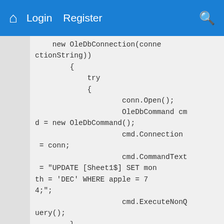🏠  Login   Register
new OleDbConnection(connectionString))
        {
            try
            {
                    conn.Open();
                    OleDbCommand cmd = new OleDbCommand();
                    cmd.Connection = conn;
                    cmd.CommandText = "UPDATE [Sheet1$] SET month = 'DEC' WHERE apple = 74;";
                    cmd.ExecuteNonQuery();
            }
                catch (Exception e